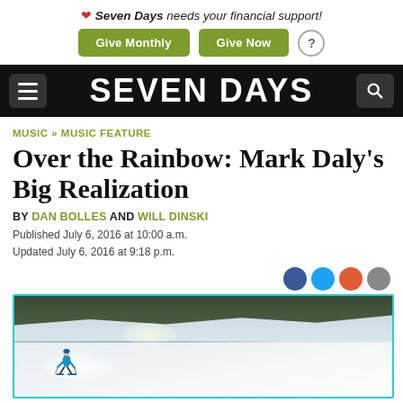❤ Seven Days needs your financial support! Give Monthly  Give Now  ?
SEVEN DAYS
MUSIC » MUSIC FEATURE
Over the Rainbow: Mark Daly's Big Realization
BY DAN BOLLES AND WILL DINSKI
Published July 6, 2016 at 10:00 a.m.
Updated July 6, 2016 at 9:18 p.m.
[Figure (photo): A skier in a blue jacket carving down a snowy slope with evergreen trees in the background.]